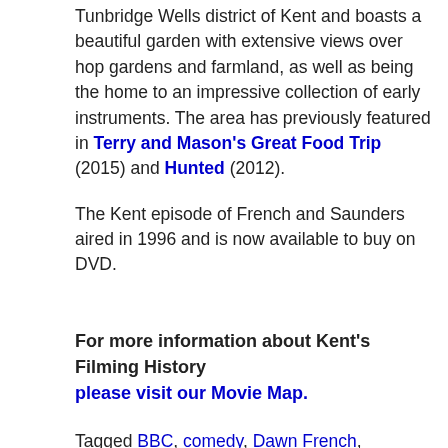Tunbridge Wells district of Kent and boasts a beautiful garden with extensive views over hop gardens and farmland, as well as being the home to an impressive collection of early instruments. The area has previously featured in Terry and Mason's Great Food Trip (2015) and Hunted (2012).
The Kent episode of French and Saunders aired in 1996 and is now available to buy on DVD.
For more information about Kent's Filming History please visit our Movie Map.
Tagged BBC, comedy, Dawn French, Finchcocks, French and Saunders Pride and Prejudice, French and Saunders Pride and Prejudice film locations, Jennifer Saunders, Pride and Prejudice, sketch comedy series, tv entertainment